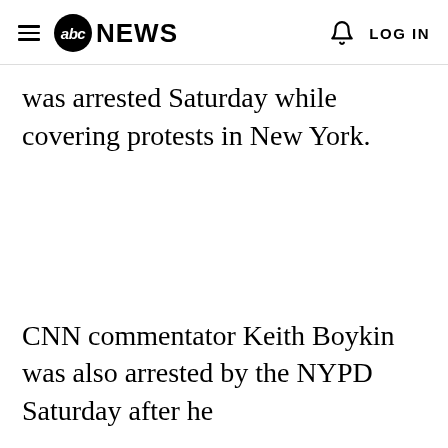abc NEWS  LOG IN
was arrested Saturday while covering protests in New York.
CNN commentator Keith Boykin was also arrested by the NYPD Saturday after he